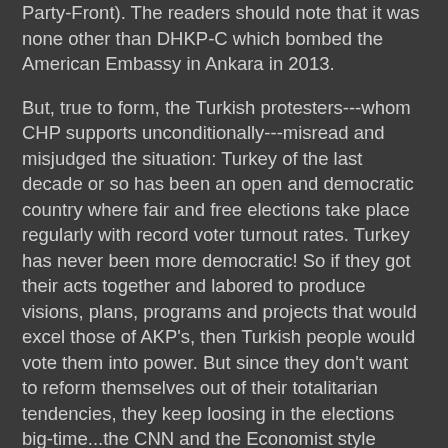Party-Front). The readers should note that it was none other than DHKP-C which bombed the American Embassy in Ankara in 2013.
But, true to form, the Turkish protesters---whom CHP supports unconditionally---misread and misjudged the situation: Turkey of the last decade or so has been an open and democratic country where fair and free elections take place regularly with record voter turnout rates. Turkey has never been more democratic! So if they got their acts together and labored to produce visions, plans, programs and projects that would excel those of AKP's, then Turkish people would vote them into power. But since they don't want to reform themselves out of their totalitarian tendencies, they keep loosing in the elections big-time...the CNN and the Economist style misportrayal and misinformation notwithstanding.
CNN once shamefully cast millions of Erdogan supporters in a AKP rally as the "protesters" of his government. They also portray the Turkish police as being harsh on the protesters...Hmm, I wonder what would befall to someone in the US if he/she were to obstruct law enforcement...